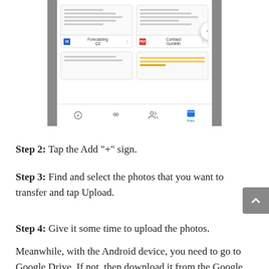[Figure (screenshot): Mobile app screenshot showing Google Drive interface with file grid (Forecasting Q2 Word doc and Contract Guidelines PDF), a circular blue + button, and bottom navigation bar with Files tab active]
Step 2: Tap the Add “+” sign.
Step 3: Find and select the photos that you want to transfer and tap Upload.
Step 4: Give it some time to upload the photos.
Meanwhile, with the Android device, you need to go to Google Drive. If not, then download it from the Google